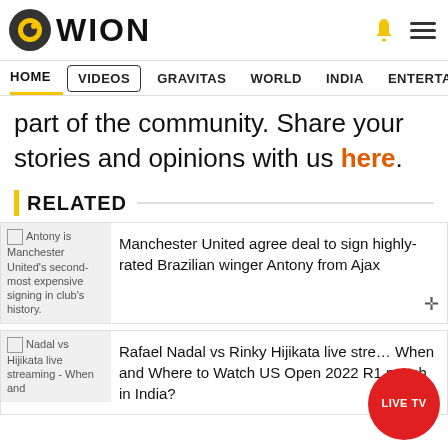WION
HOME VIDEOS GRAVITAS WORLD INDIA ENTERTAINMENT SPORTS
part of the community. Share your stories and opinions with us here.
RELATED
Manchester United agree deal to sign highly-rated Brazilian winger Antony from Ajax
Rafael Nadal vs Rinky Hijikata live streaming - When and Where to Watch US Open 2022 R1 match in India?